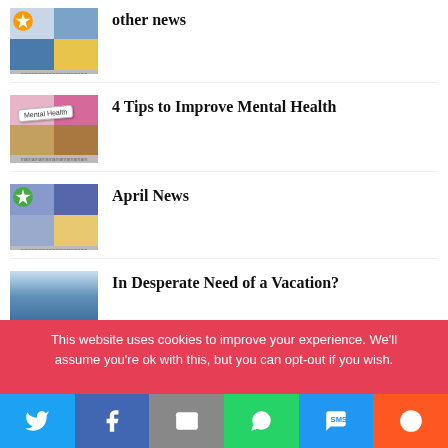[Figure (photo): Thumbnail collage with star badge for 'other news']
other news
[Figure (photo): Thumbnail showing a 'Mental Health' tag on wooden background]
4 Tips to Improve Mental Health
[Figure (photo): Thumbnail collage with star badge for 'April News']
April News
[Figure (photo): Thumbnail with blue sky/gradient for 'In Desperate Need of a Vacation?']
In Desperate Need of a Vacation?
This website uses cookies to improve your experience. We'll assume you're ok with this, but you can opt-out if you wish.
[Figure (infographic): Social share buttons: Twitter, Facebook, Email, WhatsApp, SMS, More]